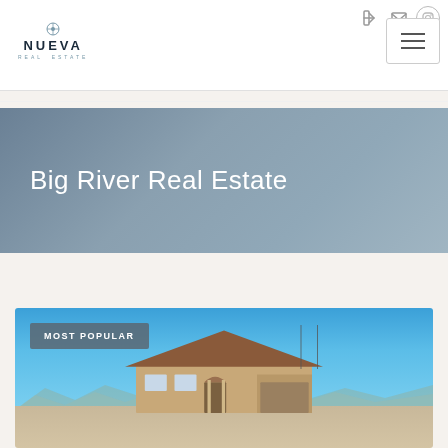Nueva Real Estate – navigation header with logo, icons, and hamburger menu
Big River Real Estate
[Figure (photo): Exterior photo of a large residential house with brown roof and beige stucco walls under a clear blue sky, desert landscape surroundings, with a 'MOST POPULAR' badge overlay in the top-left corner]